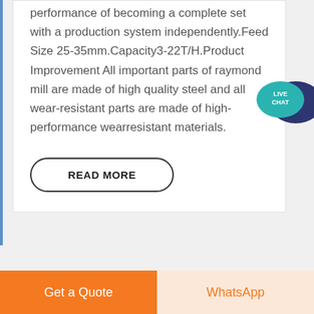performance of becoming a complete set with a production system independently.Feed Size 25-35mm.Capacity3-22T/H.Product Improvement All important parts of raymond mill are made of high quality steel and all wear-resistant parts are made of high-performance wearresistant materials.
[Figure (illustration): Live Chat speech bubble icon in teal/dark blue colors with text 'LIVE CHAT']
READ MORE
Get a Quote | WhatsApp